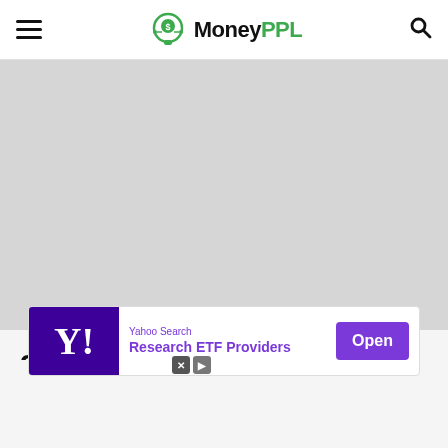MoneyPPL
[Figure (photo): Gray placeholder image area for article photo]
2. Bill Gates
Advertisement
[Figure (screenshot): Yahoo Search advertisement banner: Research ETF Providers with Open button]